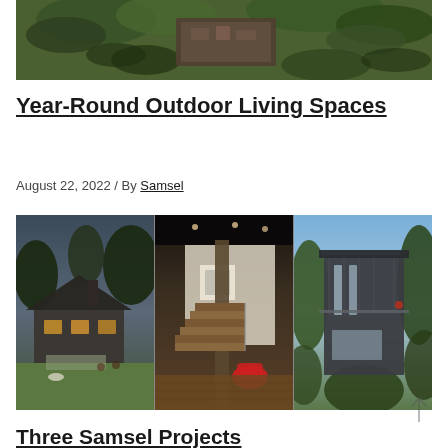[Figure (photo): Aerial view of a building surrounded by dense green trees, shot from above showing a rooftop deck with outdoor furniture]
Year-Round Outdoor Living Spaces
August 22, 2022 / By Samsel
[Figure (photo): Three side-by-side architectural photos: left shows a modern single-story home with stone chimney and lawn with a dog; middle shows an interior staircase with wood floors and a red chair; right shows a modern two-story house exterior surrounded by trees]
Three Samsel Projects